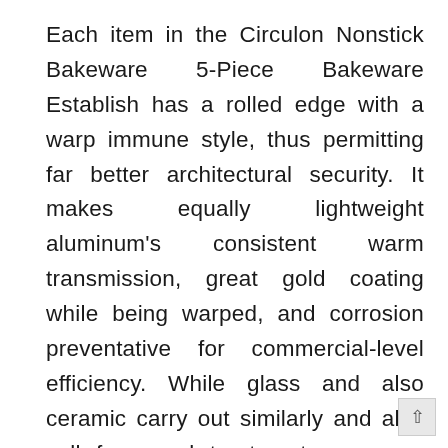Each item in the Circulon Nonstick Bakeware 5-Piece Bakeware Establish has a rolled edge with a warp immune style, thus permitting far better architectural security. It makes equally lightweight aluminum's consistent warm transmission, great gold coating while being warped, and corrosion preventative for commercial-level efficiency. While glass and also ceramic carry out similarly and also call for equal treatment, you may intend to pick ceramic meals for their appearances. When to utilize it: Usage ceramic bakeware similarly you would certainly glass. When to utilize it: Glass is best for covered dishes, baked meats, or pasta. Glazed ceramic might have lead in the glazing substance paint, which is why we advise you to make use of unglazed and period it appropriately